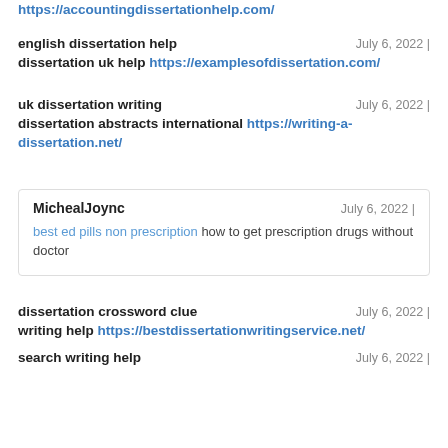https://accountingdissertationhelp.com/
english dissertation help — July 6, 2022 | dissertation uk help https://examplesofdissertation.com/
uk dissertation writing — July 6, 2022 | dissertation abstracts international https://writing-a-dissertation.net/
MichealJoync — July 6, 2022 | best ed pills non prescription how to get prescription drugs without doctor
dissertation crossword clue — July 6, 2022 | writing help https://bestdissertationwritingservice.net/
search writing help — July 6, 2022 |